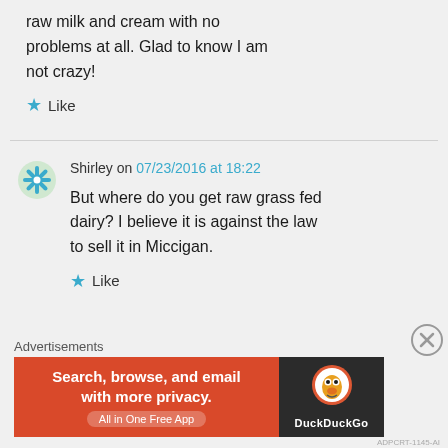raw milk and cream with no problems at all. Glad to know I am not crazy!
Like
Shirley on 07/23/2016 at 18:22
But where do you get raw grass fed dairy? I believe it is against the law to sell it in Miccigan.
Like
Advertisements
[Figure (screenshot): DuckDuckGo advertisement banner: 'Search, browse, and email with more privacy. All in One Free App']